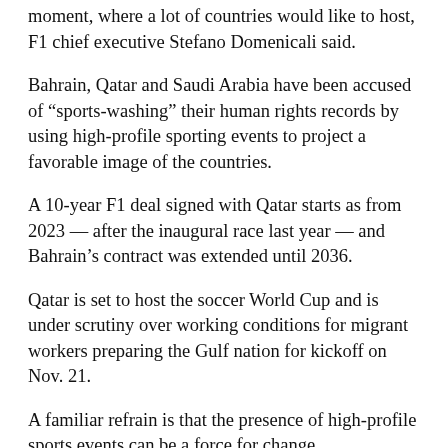moment, where a lot of countries would like to host, F1 chief executive Stefano Domenicali said.
Bahrain, Qatar and Saudi Arabia have been accused of “sports-washing” their human rights records by using high-profile sporting events to project a favorable image of the countries.
A 10-year F1 deal signed with Qatar starts as from 2023 — after the inaugural race last year — and Bahrain’s contract was extended until 2036.
Qatar is set to host the soccer World Cup and is under scrutiny over working conditions for migrant workers preparing the Gulf nation for kickoff on Nov. 21.
A familiar refrain is that the presence of high-profile sports events can be a force for change.
“We believe what we’re doing will have a very positive impact in the political situation,” Domenicali said.